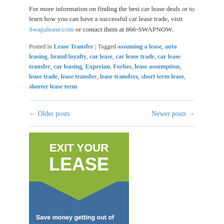For more information on finding the best car lease deals or to learn how you can have a successful car lease trade, visit Swapalease.com or contact them at 866-SWAPNOW.
Posted in Lease Transfer | Tagged assuming a lease, auto leasing, brand loyalty, car lease, car lease trade, car lease transfer, car leasing, Experian, Forbes, lease assumption, lease trade, lease transfer, lease transfers, short term lease, shorter lease term
← Older posts    Newer posts →
[Figure (illustration): Promotional banner with green top section reading 'EXIT YOUR LEASE' in white bold text, a blue section below with a downward arrow and green chevron cutout, and text 'Save money getting out of your car lease.' in white.]